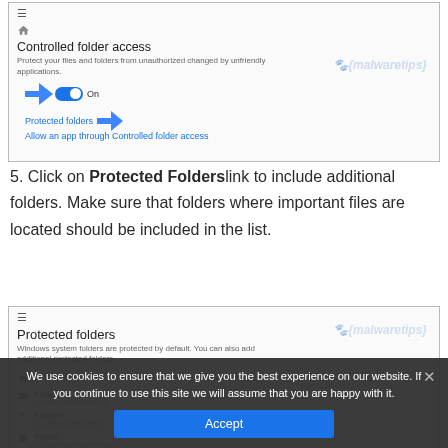[Figure (screenshot): Windows Security Controlled folder access settings panel showing toggle switch set to On, with blue arrows pointing to the toggle and Protected folders link]
5. Click on Protected Folders link to include additional folders. Make sure that folders where important files are located should be included in the list.
[Figure (screenshot): Windows Security Protected folders panel showing Windows system folders list including Pictures and Videos, with a cookie consent overlay bar at the bottom]
We use cookies to ensure that we give you the best experience on our website. If you continue to use this site we will assume that you are happy with it.